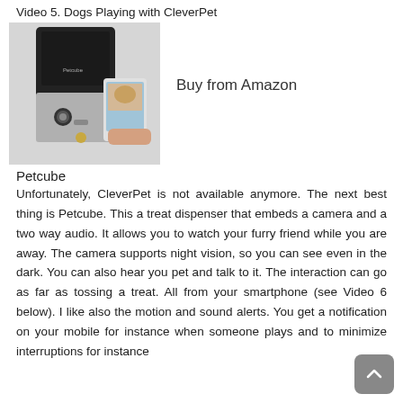Video 5. Dogs Playing with CleverPet
[Figure (photo): Petcube pet camera and treat dispenser product photo with a hand holding a smartphone showing a dog image, alongside text 'Buy from Amazon']
Petcube
Unfortunately, CleverPet is not available anymore. The next best thing is Petcube. This a treat dispenser that embeds a camera and a two way audio. It allows you to watch your furry friend while you are away. The camera supports night vision, so you can see even in the dark. You can also hear you pet and talk to it. The interaction can go as far as tossing a treat. All from your smartphone (see Video 6 below). I like also the motion and sound alerts. You get a notification on your mobile for instance when someone plays and to minimize interruptions for instance